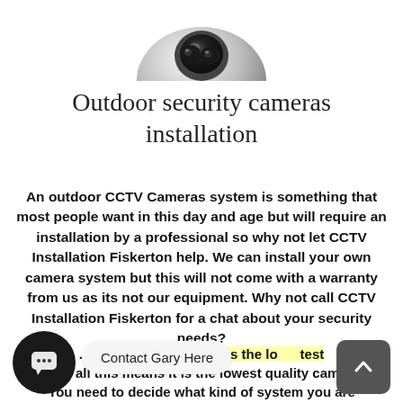[Figure (photo): Partial view of a dome outdoor security camera, silver/grey metallic finish, cropped at top of page]
Outdoor security cameras installation
An outdoor CCTV Cameras system is something that most people want in this day and age but will require an installation by a professional so why not let CCTV Installation Fiskerton help. We can install your own camera system but this will not come with a warranty from us as its not our equipment. Why not call CCTV Installation Fiskerton for a chat about your security needs?
[Figure (screenshot): Chat widget icon (dark circle with speech bubble dots), contact bubble reading 'Contact Gary Here', and scroll-to-top button (dark rounded square with upward chevron)]
...ch has the lowest price all this means it is the lowest quality camera. You need to decide what kind of system you are